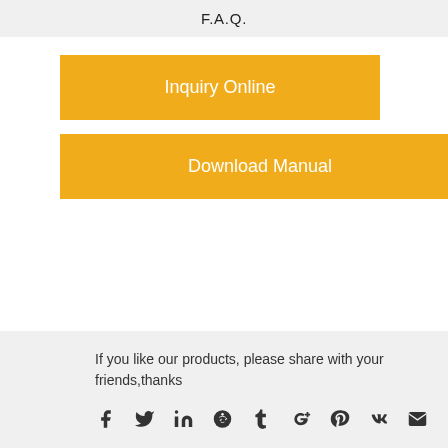F.A.Q.
Inquiry Online
Download Manual
If you like our products, please share with your friends,thanks